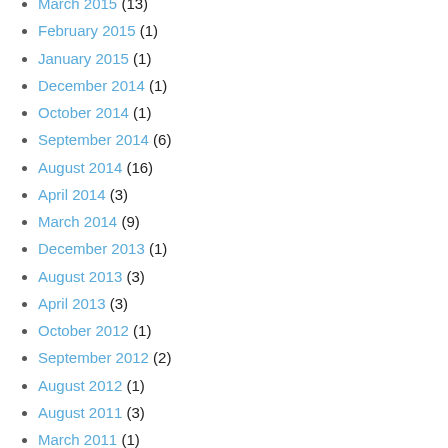March 2015 (13)
February 2015 (1)
January 2015 (1)
December 2014 (1)
October 2014 (1)
September 2014 (6)
August 2014 (16)
April 2014 (3)
March 2014 (9)
December 2013 (1)
August 2013 (3)
April 2013 (3)
October 2012 (1)
September 2012 (2)
August 2012 (1)
August 2011 (3)
March 2011 (1)